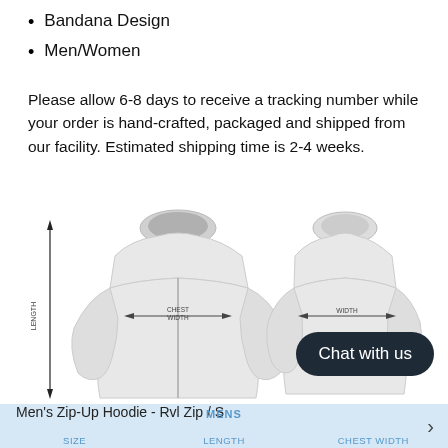Bandana Design
Men/Women
Please allow 6-8 days to receive a tracking number while your order is hand-crafted, packaged and shipped from our facility. Estimated shipping time is 2-4 weeks.
[Figure (illustration): Two hoodie mockups side by side – front view (left) showing CHEST WIDTH measurement arrow and LENGTH measurement arrow along the side; back view (right) showing WIDTH measurement arrow. White zip-up hoodie with grey hood lining.]
Men's Zip-Up Hoodie - Rvl Zip / S